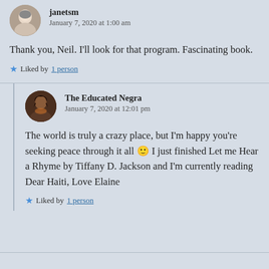janetsm
January 7, 2020 at 1:00 am
Thank you, Neil. I'll look for that program. Fascinating book.
Liked by 1 person
The Educated Negra
January 7, 2020 at 12:01 pm
The world is truly a crazy place, but I'm happy you're seeking peace through it all 🙂 I just finished Let me Hear a Rhyme by Tiffany D. Jackson and I'm currently reading Dear Haiti, Love Elaine
Liked by 1 person